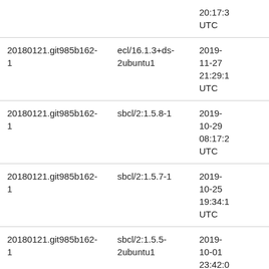|  |  | 20:17:3
UTC |
| 20180121.git985b162-
1 | ecl/16.1.3+ds-2ubuntu1 | 2019-
11-27
21:29:1
UTC |
| 20180121.git985b162-
1 | sbcl/2:1.5.8-1 | 2019-
10-29
08:17:2
UTC |
| 20180121.git985b162-
1 | sbcl/2:1.5.7-1 | 2019-
10-25
19:34:1
UTC |
| 20180121.git985b162-
1 | sbcl/2:1.5.5-2ubuntu1 | 2019-
10-01
23:42:0
UTC |